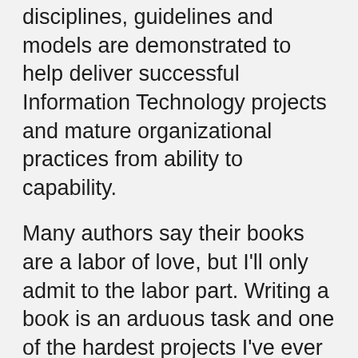disciplines, guidelines and models are demonstrated to help deliver successful Information Technology projects and mature organizational practices from ability to capability.
Many authors say their books are a labor of love, but I'll only admit to the labor part. Writing a book is an arduous task and one of the hardest projects I've ever undertaken. In all, I've invested over thirteen months bringing this project to fruition. This includes over ten months researching, reading and studying and about three and half months writing eight to ten hours a day, six days a week; all the while keeping up with family and parental